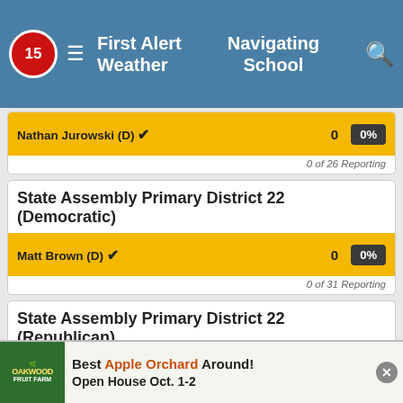First Alert Weather | Navigating School
Nathan Jurowski (D) ✔  0  0%  0 of 26 Reporting
State Assembly Primary District 22 (Democratic)
Matt Brown (D) ✔  0  0%  0 of 31 Reporting
State Assembly Primary District 22 (Republican)
Janel Brandtjen (R) ★ ✔  0  0%  0 of 31 Reporting
State Assembly Primary District 23 (Democratic)
Deb Andraca (D) ★ ✔  0  0%
[Figure (screenshot): Advertisement banner for Oakwood Fruit Farm: Best Apple Orchard Around! Open House Oct. 1-2]